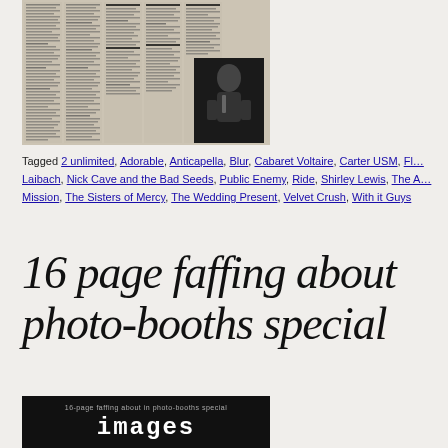[Figure (photo): Scanned newspaper page showing multiple columns of text with album/music reviews, with a black and white inset photo of a person in the lower right area of the newspaper clipping.]
Tagged 2 unlimited, Adorable, Anticapella, Blur, Cabaret Voltaire, Carter USM, Fl… Laibach, Nick Cave and the Bad Seeds, Public Enemy, Ride, Shirley Lewis, The Mission, The Sisters of Mercy, The Wedding Present, Velvet Crush, With it Guys
16 page faffing about photo-booths special
[Figure (photo): Black cover image with white text reading '16-page faffing about in photo-booths special' above the word 'images' in large typewriter-style font.]